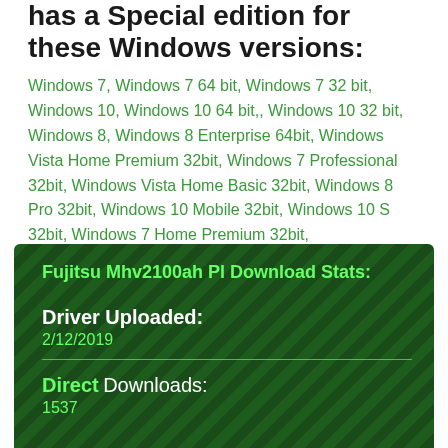has a Special edition for these Windows versions:
Windows 7, Windows 7 64 bit, Windows 7 32 bit, Windows 10, Windows 10 64 bit,, Windows 10 32 bit, Windows 8, Windows 8 Enterprise 64bit, Windows Vista Home Premium 32bit, Windows 7 Professional 32bit, Windows Vista Home Basic 32bit, Windows 8 Pro 32bit, Windows 10 Mobile 32bit, Windows 10 S 32bit, Windows 7 Home Premium 32bit,
Fujitsu Mhv2100ah Pl Download Stats:
Driver Uploaded: 2/12/2019
Direct Downloads: 1537